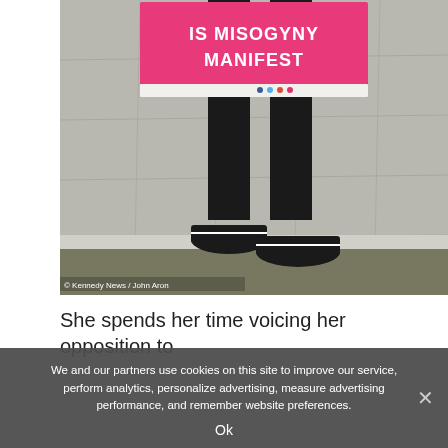[Figure (photo): Person holding a pink protest sign reading 'IS MISOGYNY MANIFEST' with social media icons and website URL at bottom. Person is wearing black jeans and black and white Vans sneakers, standing on a pavement/sidewalk. Photo credit: © Kennedy News / John Aron]
© Kennedy News / John Aron
She spends her time voicing her opposition to
We and our partners use cookies on this site to improve our service, perform analytics, personalize advertising, measure advertising performance, and remember website preferences.
Ok